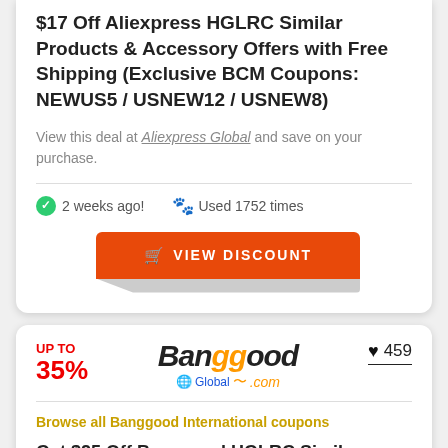$17 Off Aliexpress HGLRC Similar Products & Accessory Offers with Free Shipping (Exclusive BCM Coupons: NEWUS5 / USNEW12 / USNEW8)
View this deal at Aliexpress Global and save on your purchase.
2 weeks ago!   Used 1752 times
[Figure (other): Orange VIEW DISCOUNT button with shopping cart icon]
UP TO 35%
❤ 459
[Figure (logo): Banggood Global logo with orange swoosh and .com]
Browse all Banggood International coupons
Get $25 Off Banggood HGLRC Similar Products & Accessory Offers with International Free Shipping (Use Coupon Codes: BGC0AC93 / TRADETRACKER /